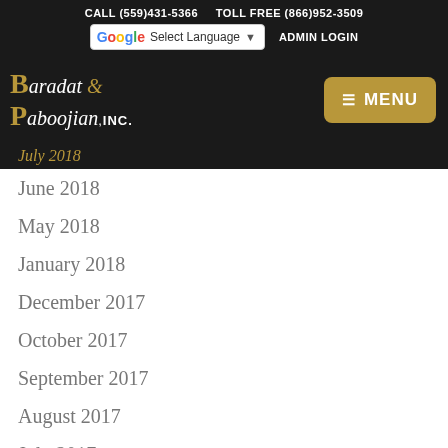CALL (559)431-5366   TOLL FREE (866)952-3509
[Figure (screenshot): Google Translate widget and Admin Login button in top navigation bar]
[Figure (logo): Baradat & Paboojian, Inc. law firm logo with MENU button]
July 2018
June 2018
May 2018
January 2018
December 2017
October 2017
September 2017
August 2017
July 2017